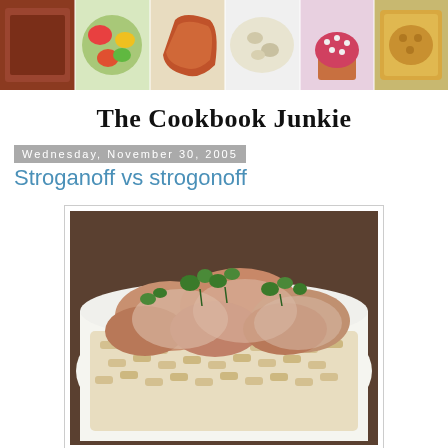[Figure (photo): Header banner with six food photos: meat loaf, colorful salad, stuffed peppers, potato salad, cupcake with decoration, casserole dish]
The Cookbook Junkie
Wednesday, November 30, 2005
Stroganoff vs strogonoff
[Figure (photo): A plate of beef stroganoff with creamy sauce served over penne pasta, garnished with fresh parsley]